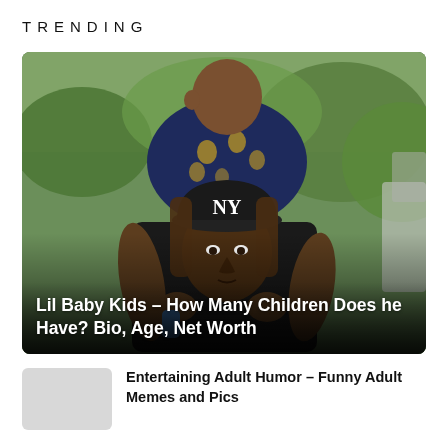TRENDING
[Figure (photo): A man wearing a black NY Yankees cap and black shirt carrying a young child on his shoulders outdoors with green trees in the background.]
Lil Baby Kids – How Many Children Does he Have? Bio, Age, Net Worth
[Figure (photo): Small thumbnail image, light gray placeholder.]
Entertaining Adult Humor – Funny Adult Memes and Pics